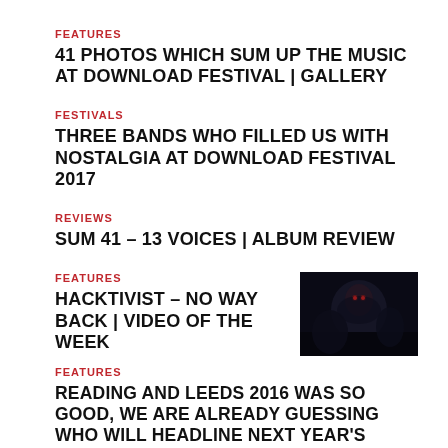FEATURES
41 PHOTOS WHICH SUM UP THE MUSIC AT DOWNLOAD FESTIVAL | GALLERY
FESTIVALS
THREE BANDS WHO FILLED US WITH NOSTALGIA AT DOWNLOAD FESTIVAL 2017
REVIEWS
SUM 41 – 13 VOICES | ALBUM REVIEW
FEATURES
HACKTIVIST – NO WAY BACK | VIDEO OF THE WEEK
[Figure (photo): Dark concert/performer photo for Hacktivist video feature]
FEATURES
READING AND LEEDS 2016 WAS SO GOOD, WE ARE ALREADY GUESSING WHO WILL HEADLINE NEXT YEAR'S EVENT!